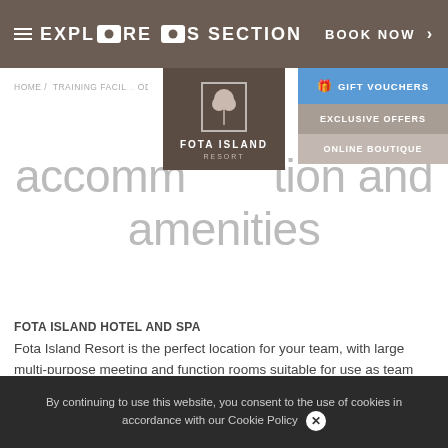EXPLORE THIS SECTION   BOOK NOW >
HOME / TRAINING FACIL... ODATION AND
[Figure (logo): Fota Island Resort logo — white tree icon on dark brown background with text FOTA ISLAND RESORT]
GIFT VOUCHERS
EXCLUSIVE OFFERS
ONLINE BOUTIQUE
accommodation and amenities
FOTA ISLAND HOTEL AND SPA
Fota Island Resort is the perfect location for your team, with large multi-purpose meeting and function rooms suitable for use as team leisure, medical and analysis rooms. At Fota Island Resort we understand the importance of nutrition during your stay, we will work hand in hand with you to make sure your dietary requirements are met and your stay is as enjoyable as possible in
By continuing to use this website, you consent to the use of cookies in accordance with our Cookie Policy ✕